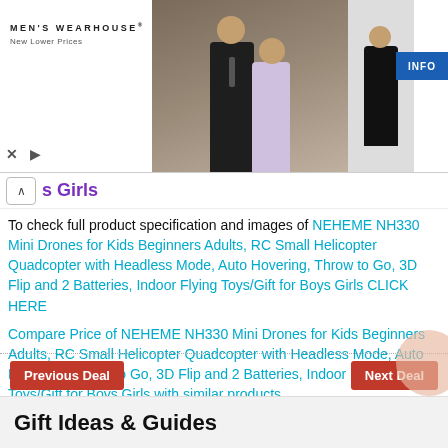[Figure (photo): Men's Wearhouse advertisement banner showing a couple in formal wear and a solo male figure in a tuxedo, with an INFO button]
s Girls
To check full product specification and images of NEHEME NH330 Mini Drones for Kids Beginners Adults, RC Small Helicopter Quadcopter with Headless Mode, Auto Hovering, Throw to Go, 3D Flip and 2 Batteries, Indoor Flying Toys/Gift for Boys Girls CLICK HERE
Compare Price of NEHEME NH330 Mini Drones for Kids Beginners Adults, RC Small Helicopter Quadcopter with Headless Mode, Auto Hovering, Throw to Go, 3D Flip and 2 Batteries, Indoor Flying Toys/Gift for Boys Girls with similar products.
Previous Deal
Next Deal
Gift Ideas & Guides